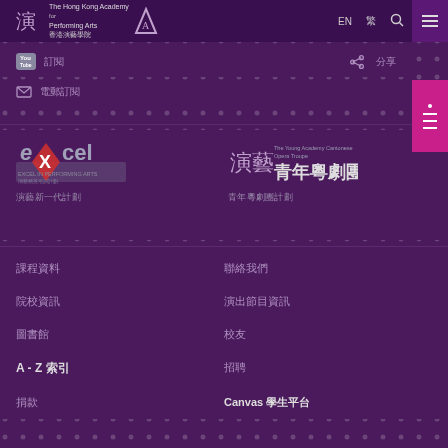The Hong Kong Academy for Performing Arts 香港演藝學院 | EN | 搜尋 | 選單
YouTube 訂閱 | 分享 | 電郵訂閱
[Figure (logo): eXcel programme logo]
演藝新一代計劃
[Figure (logo): The Young Academy Cantonese Opera Troupe 青年粵劇團 logo]
青年粵劇團計劃
課程資料
聯絡我們
院校資訊
演出節目資訊
圖書館
校友
A - Z 索引
招聘
捐款
Canvas 學生平台